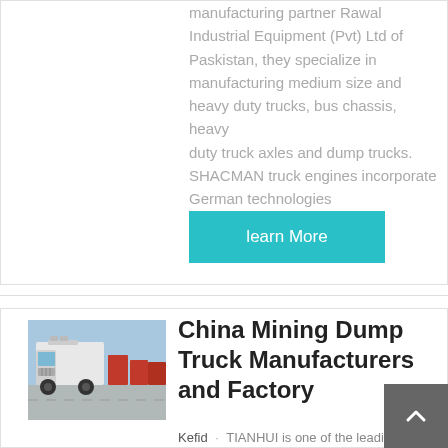manufacturing partner Rawat Industrial Equipment (Pvt) Ltd of Paskistan, they specialize in manufacturing medium size and heavy duty trucks, bus chassis, heavy duty truck axles and dump trucks. SHACMAN truck engines incorporate German technologies
learn More
[Figure (photo): A white heavy-duty truck (front view) parked in a lot with other red trucks and blue sky background]
China Mining Dump Truck Manufacturers and Factory
Kefid · TIANHUI is one of the leading